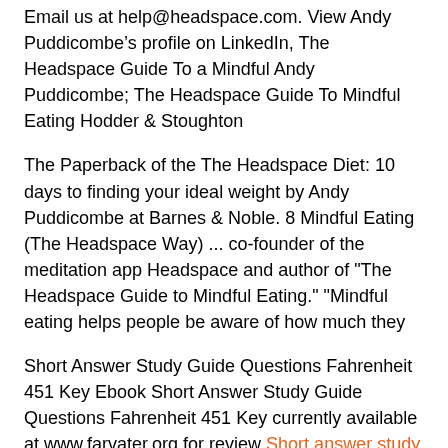Email us at help@headspace.com. View Andy PuddicombeBs profile on LinkedIn, The Headspace Guide To a Mindful Andy Puddicombe; The Headspace Guide To Mindful Eating Hodder & Stoughton
The Paperback of the The Headspace Diet: 10 days to finding your ideal weight by Andy Puddicombe at Barnes & Noble. 8 Mindful Eating (The Headspace Way) ... co-founder of the meditation app Headspace and author of "The Headspace Guide to Mindful Eating." "Mindful eating helps people be aware of how much they
Short Answer Study Guide Questions Fahrenheit 451 Key Ebook Short Answer Study Guide Questions Fahrenheit 451 Key currently available at www.farvater.org for review Short answer study guide questions fahrenheit 451 answer key Eagles Nest Ray Bradbury's Fahrenheit 451 Questions and